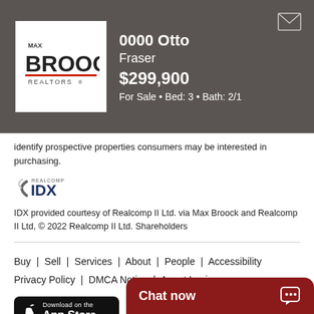[Figure (logo): Max Broock Realtors logo — white background with MAX BROOCK REALTORS text and red underline]
0000 Otto Fraser $299,900 For Sale • Bed: 3 • Bath: 2/1
identify prospective properties consumers may be interested in purchasing.
[Figure (logo): Realcomp IDX logo]
IDX provided courtesy of Realcomp II Ltd. via Max Broock and Realcomp II Ltd, © 2022 Realcomp II Ltd. Shareholders
Buy | Sell | Services | About | People | Accessibility
Privacy Policy | DMCA Notice | Agent Login
[Figure (logo): Download on the App Store button]
[Figure (logo): Android App on Google Play button]
[Figure (logo): Facebook circular icon]
©2022 Max Broock. All rights reserved.
Chat now